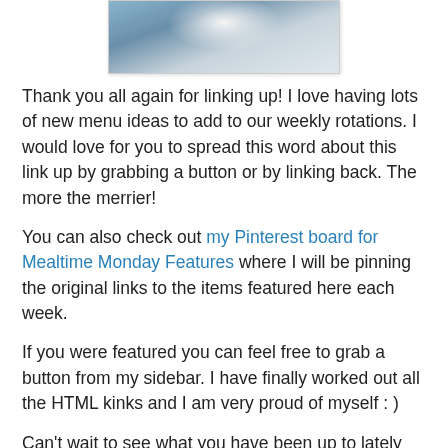[Figure (photo): Partial photo of a dish on a plate, visible at the top of the page.]
Thank you all again for linking up! I love having lots of new menu ideas to add to our weekly rotations. I would love for you to spread this word about this link up by grabbing a button or by linking back. The more the merrier!
You can also check out my Pinterest board for Mealtime Monday Features where I will be pinning the original links to the items featured here each week.
If you were featured you can feel free to grab a button from my sidebar. I have finally worked out all the HTML kinks and I am very proud of myself : )
Can't wait to see what you have been up to lately and I love being inspired by all the delicious looking dishes you create.
I will be featuring my favorites next weekend and I will be pinning things to my Pinterest boards too. Make sure you check out my Link Ups page for lots more fun places to link